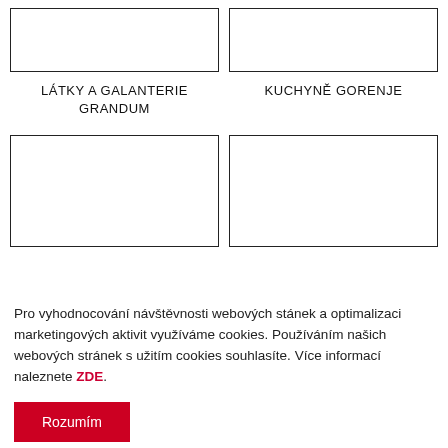[Figure (other): Empty white box with border, top-left image placeholder]
[Figure (other): Empty white box with border, top-right image placeholder]
LÁTKY A GALANTERIE GRANDUM
KUCHYNĚ GORENJE
[Figure (other): Empty white box with border, bottom-left image placeholder]
[Figure (other): Empty white box with border, bottom-right image placeholder]
Pro vyhodnocování návštěvnosti webových stánek a optimalizaci marketingových aktivit využíváme cookies. Používáním našich webových stránek s užitím cookies souhlasíte. Více informací naleznete ZDE.
Rozumím